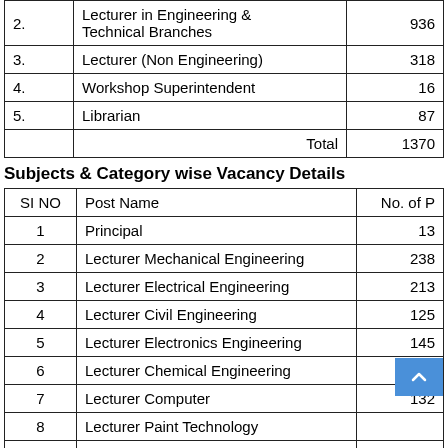|  |  |  |
| --- | --- | --- |
| 2. | Lecturer in Engineering & Technical Branches | 936 |
| 3. | Lecturer (Non Engineering) | 318 |
| 4. | Workshop Superintendent | 16 |
| 5. | Librarian | 87 |
|  | Total | 1370 |
Subjects & Category wise Vacancy Details
| SI NO | Post Name | No. of P... |
| --- | --- | --- |
| 1 | Principal | 13 |
| 2 | Lecturer Mechanical Engineering | 238 |
| 3 | Lecturer Electrical Engineering | 213 |
| 4 | Lecturer Civil Engineering | 125 |
| 5 | Lecturer Electronics Engineering | 145 |
| 6 | Lecturer Chemical Engineering | 47 |
| 7 | Lecturer Computer | 132 |
| 8 | Lecturer Paint Technology |  |
| 9 | Lecturer Textile Technology | 36 |